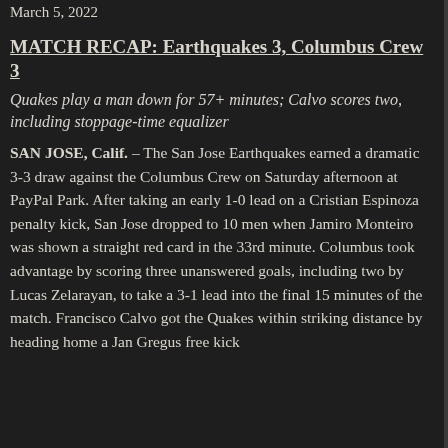March 5, 2022
MATCH RECAP: Earthquakes 3, Columbus Crew 3
Quakes play a man down for 57+ minutes; Calvo scores two, including stoppage-time equalizer
SAN JOSE, Calif. – The San Jose Earthquakes earned a dramatic 3-3 draw against the Columbus Crew on Saturday afternoon at PayPal Park. After taking an early 1-0 lead on a Cristian Espinoza penalty kick, San Jose dropped to 10 men when Jamiro Monteiro was shown a straight red card in the 33rd minute. Columbus took advantage by scoring three unanswered goals, including two by Lucas Zelarayan, to take a 3-1 lead into the final 15 minutes of the match. Francisco Calvo got the Quakes within striking distance by heading home a Jan Gregus free kick in the 84th minute. Then...